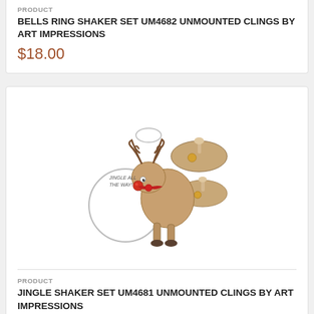PRODUCT
BELLS RING SHAKER SET UM4682 UNMOUNTED CLINGS BY ART IMPRESSIONS
$18.00
[Figure (illustration): Cartoon reindeer illustration with bells/cymbals, text reading 'JINGLE ALL THE WAY', and circular shaker outlines around it. Brown reindeer character with red nose shown from the side.]
PRODUCT
JINGLE SHAKER SET UM4681 UNMOUNTED CLINGS BY ART IMPRESSIONS
$19.50